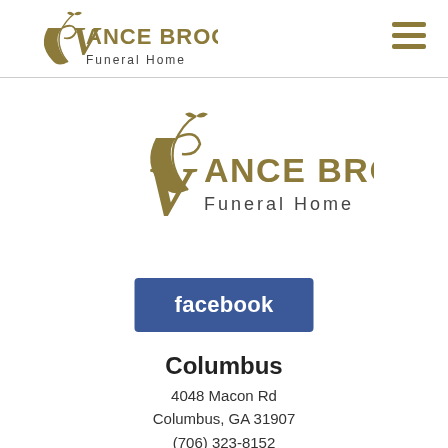Vance Brooks Funeral Home
[Figure (logo): Vance Brooks Funeral Home logo — stylized V with floral/leaf ornament above, gold and dark text, centered on white background]
[Figure (logo): Facebook button — blue rectangle with white bold text 'facebook']
Columbus
4048 Macon Rd
Columbus, GA 31907
(706) 323-8152
FD-COL@vancebrooksfh.com